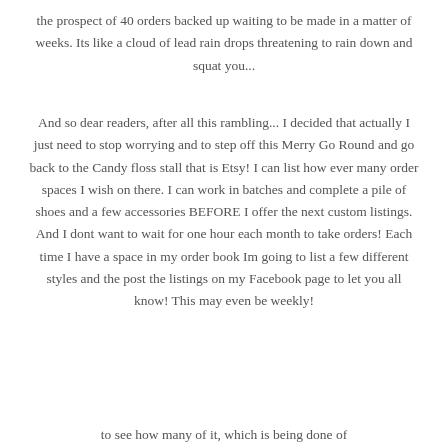the prospect of 40 orders backed up waiting to be made in a matter of weeks. Its like a cloud of lead rain drops threatening to rain down and squat you...
And so dear readers, after all this rambling... I decided that actually I just need to stop worrying and to step off this Merry Go Round and go back to the Candy floss stall that is Etsy! I can list how ever many order spaces I wish on there. I can work in batches and complete a pile of shoes and a few accessories BEFORE I offer the next custom listings. And I dont want to wait for one hour each month to take orders! Each time I have a space in my order book Im going to list a few different styles and the post the listings on my Facebook page to let you all know! This may even be weekly!
to see how many of it, which is being done of